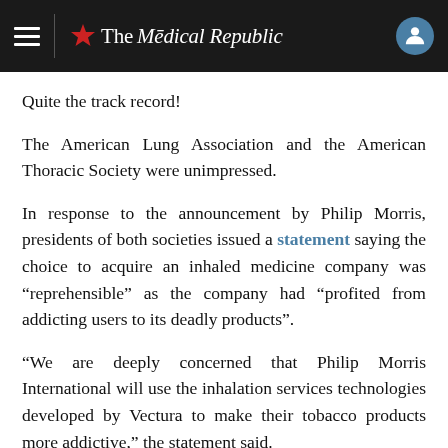The Medical Republic
Quite the track record!
The American Lung Association and the American Thoracic Society were unimpressed.
In response to the announcement by Philip Morris, presidents of both societies issued a statement saying the choice to acquire an inhaled medicine company was “reprehensible” as the company had “profited from addicting users to its deadly products”.
“We are deeply concerned that Philip Morris International will use the inhalation services technologies developed by Vectura to make their tobacco products more addictive,” the statement said.